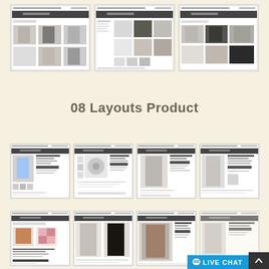[Figure (screenshot): Three fashion e-commerce website layout screenshots showing product listing pages with clothing photos arranged in grid layouts]
08 Layouts Product
[Figure (screenshot): Four fashion e-commerce product detail page screenshots showing individual clothing items with descriptions and purchase options]
[Figure (screenshot): Four more fashion e-commerce product detail page screenshots with different layout variations, partially visible, with a Live Chat button overlay]